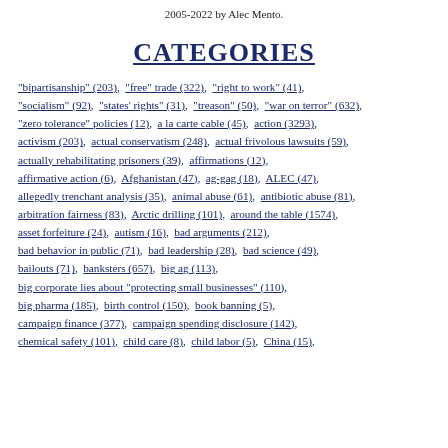2005-2022 by Alec Mento.
CATEGORIES
"bipartisanship" (203),  "free" trade (322),  "right to work" (41),  "socialism" (92),  "states' rights" (31),  "treason" (50),  "war on terror" (632),  "zero tolerance" policies (12),  a la carte cable (45),  action (3293),  activism (203),  actual conservatism (248),  actual frivolous lawsuits (59),  actually rehabilitating prisoners (39),  affirmations (12),  affirmative action (6),  Afghanistan (47),  ag-gag (18),  ALEC (47),  allegedly trenchant analysis (35),  animal abuse (61),  antibiotic abuse (81),  arbitration fairness (83),  Arctic drilling (101),  around the table (1574),  asset forfeiture (24),  autism (16),  bad arguments (212),  bad behavior in public (71),  bad leadership (28),  bad science (49),  bailouts (71),  banksters (657),  big ag (113),  big corporate lies about "protecting small businesses" (110),  big pharma (185),  birth control (150),  book banning (5),  campaign finance (377),  campaign spending disclosure (142),  chemical safety (101),  child care (8),  child labor (5),  China (15),